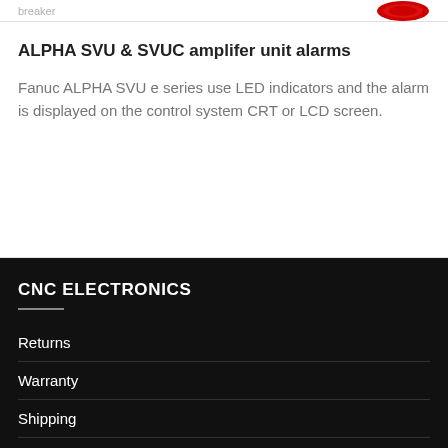[Figure (logo): Red circular logo/emblem at top right of page]
ALPHA SVU & SVUC amplifer unit alarms
Fanuc ALPHA SVU e series use LED indicators and the alarm is displayed on the control system CRT or LCD screen.
CNC ELECTRONICS
Returns
Warranty
Shipping